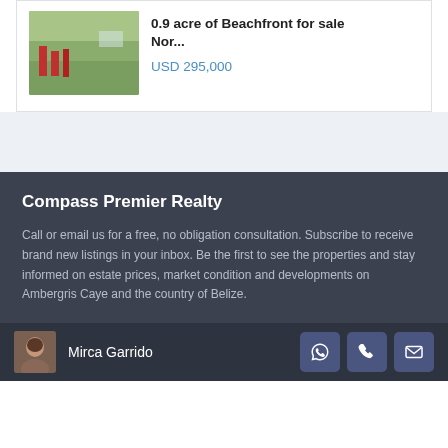[Figure (photo): Aerial/landscape photo of beachfront land with vegetation]
0.9 acre of Beachfront for sale Nor...
USD 295,000
Compass Premier Realty
Call or email us for a free, no obligation consultation. Subscribe to receive brand new listings in your inbox. Be the first to see the properties and stay informed on estate prices, market condition and developments on Ambergris Caye and the country of Belize.
[Figure (photo): Portrait photo of agent Mirca Garrido]
Mirca Garrido